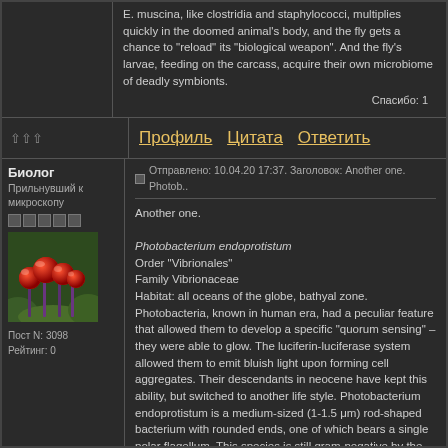E. muscina, like clostridia and staphylococci, multiplies quickly in the doomed animal's body, and the fly gets a chance to "reload" its "biological weapon". And the fly's larvae, feeding on the carcass, acquire their own microbiome of deadly symbionts.
Спасибо: 1
⇧⇧⇧
Профиль Цитата Ответить
Биолог
Прильнувший к микроскопу
[Figure (photo): Photo of red mushrooms or berries on mossy green plant background]
Пост N: 3098
Рейтинг: 0
Отправлено: 10.04.20 17:37. Заголовок: Another one. Photob..
Another one.

Photobacterium endoprotistum
Order "Vibrionales"
Family Vibrionaceae
Habitat: all oceans of the globe, bathyal zone.
Photobacteria, known in human era, had a peculiar feature that allowed them to develop a specific "quorum sensing" – they were able to glow. The luciferin-luciferase system allowed them to emit bluish light upon forming cell aggregates. Their descendants in neocene have kept this ability, but switched to another life style. Photobacterium endoprotistum is a medium-sized (1-1.5 μm) rod-shaped bacterium with rounded ends, one of which bears a single polar flagellum. This species is still gram-negative by the structure of the cell wall, but the cell is covered with a slimy capsule from outside. The